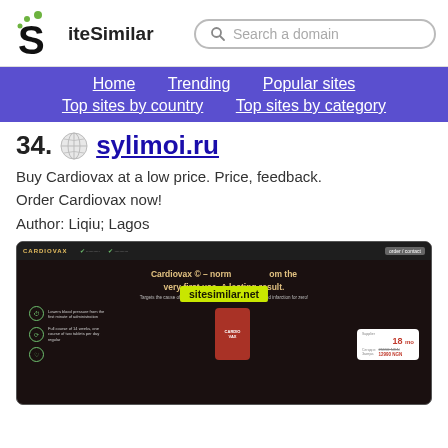SiteSimilar — Search a domain
Home | Trending | Popular sites | Top sites by country | Top sites by category
34. sylimoi.ru
Buy Cardiovax at a low price. Price, feedback. Order Cardiovax now!
Author: Liqiu; Lagos
[Figure (screenshot): Screenshot of sylimoi.ru showing the Cardiovax website with a product page, watermark 'sitesimilar.net', product bottle image, and pricing information in NGN.]